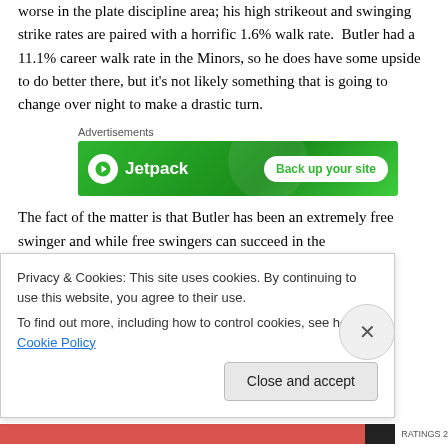worse in the plate discipline area; his high strikeout and swinging strike rates are paired with a horrific 1.6% walk rate. Butler had a 11.1% career walk rate in the Minors, so he does have some upside to do better there, but it's not likely something that is going to change over night to make a drastic turn.
[Figure (other): Jetpack advertisement banner with green background showing Jetpack logo and 'Back up your site' call-to-action button]
The fact of the matter is that Butler has been an extremely free swinger and while free swingers can succeed in the
Privacy & Cookies: This site uses cookies. By continuing to use this website, you agree to their use.
To find out more, including how to control cookies, see here: Cookie Policy
Close and accept